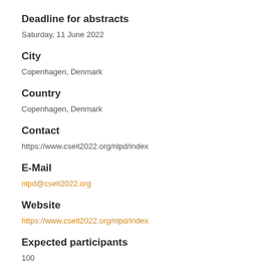Deadline for abstracts
Saturday, 11 June 2022
City
Copenhagen,  Denmark
Country
Copenhagen,  Denmark
Contact
https://www.cseit2022.org/nlpd/index
E-Mail
nlpd@cseit2022.org
Website
https://www.cseit2022.org/nlpd/index
Expected participants
100